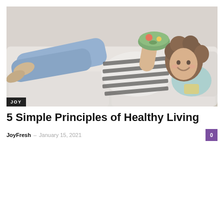[Figure (photo): Woman with curly hair lying on a light grey couch, smiling and eating a colorful salad from a bowl. She is wearing a black and white striped long-sleeve shirt and blue jeans. The scene is slightly faded/muted in tone. A 'JOY' label badge appears in the bottom-left corner of the image.]
5 Simple Principles of Healthy Living
JoyFresh – January 15, 2021